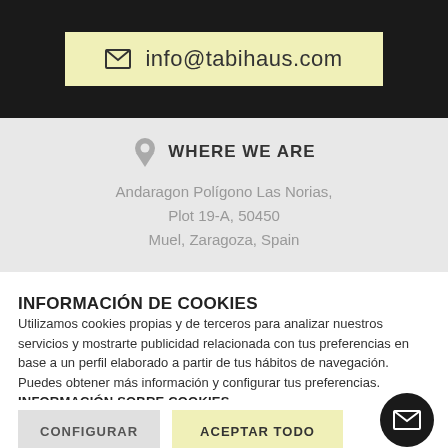info@tabihaus.com
WHERE WE ARE
Andaragon Polígono Las Norias, Plot 19-A, 50450 Muel, Zaragoza, Spain
INFORMACIÓN DE COOKIES
Utilizamos cookies propias y de terceros para analizar nuestros servicios y mostrarte publicidad relacionada con tus preferencias en base a un perfil elaborado a partir de tus hábitos de navegación. Puedes obtener más información y configurar tus preferencias. INFORMACIÓN SOBRE COOKIES
CONFIGURAR
ACEPTAR TODO